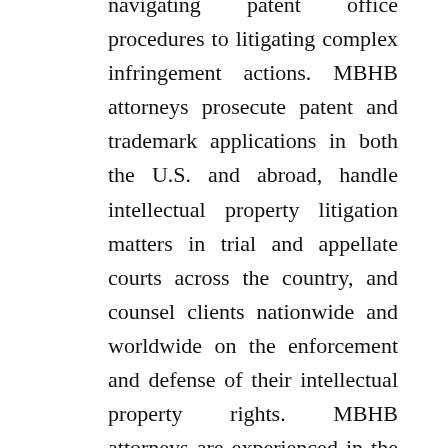navigating patent office procedures to litigating complex infringement actions. MBHB attorneys prosecute patent and trademark applications in both the U.S. and abroad, handle intellectual property litigation matters in trial and appellate courts across the country, and counsel clients nationwide and worldwide on the enforcement and defense of their intellectual property rights. MBHB attorneys are experienced in the procurement, licensing, enforcement, and defense of patents, trademarks, copyrights, trade secrets, and unfair competition actions in a number of technological disciplines and product